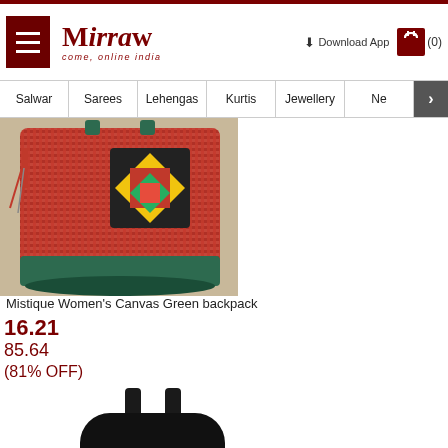Mirraw - come, online india | Download App | Cart (0)
Salwar | Sarees | Lehengas | Kurtis | Jewellery | Ne >
[Figure (photo): Mistique Women's Canvas Green backpack product image, showing a red tweed fabric bag with green base and tassel decoration, colorful embroidered patch]
Mistique Women's Canvas Green backpack
16.21
85.64
(81% OFF)
[Figure (photo): Black backpack with red diamond-shaped patch logo and colorful typography detail at the bottom]